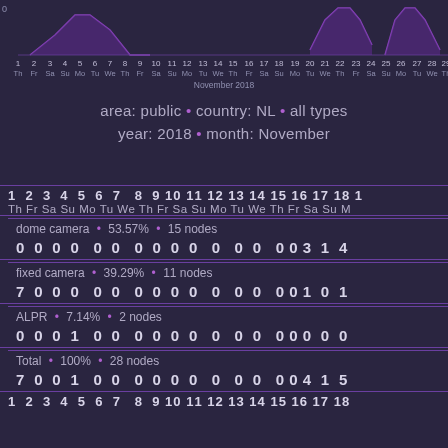[Figure (continuous-plot): Time series chart showing activity for November 2018. Dark background with purple/violet area chart shapes. X-axis shows days 1-30 with day-of-week labels (Th Fr Sa Su Mo Tu We...). Month label: November 2018.]
area: public • country: NL • all types
year: 2018 • month: November
| Type | Pct | Nodes | 1 | 2 | 3 | 4 | 5 | 6 | 7 | 8 | 9 | 10 | 11 | 12 | 13 | 14 | 15 | 16 | 17 | 18 |
| --- | --- | --- | --- | --- | --- | --- | --- | --- | --- | --- | --- | --- | --- | --- | --- | --- | --- | --- | --- | --- |
| dome camera | 53.57% | 15 nodes | 0 | 0 | 0 | 0 | 0 | 0 | 0 | 0 | 0 | 0 | 0 | 0 | 0 | 0 | 0 | 3 | 1 | 4 |
| fixed camera | 39.29% | 11 nodes | 7 | 0 | 0 | 0 | 0 | 0 | 0 | 0 | 0 | 0 | 0 | 0 | 0 | 0 | 0 | 1 | 0 | 1 |
| ALPR | 7.14% | 2 nodes | 0 | 0 | 0 | 1 | 0 | 0 | 0 | 0 | 0 | 0 | 0 | 0 | 0 | 0 | 0 | 0 | 0 | 0 |
| Total | 100% | 28 nodes | 7 | 0 | 0 | 1 | 0 | 0 | 0 | 0 | 0 | 0 | 0 | 0 | 0 | 0 | 0 | 4 | 1 | 5 |